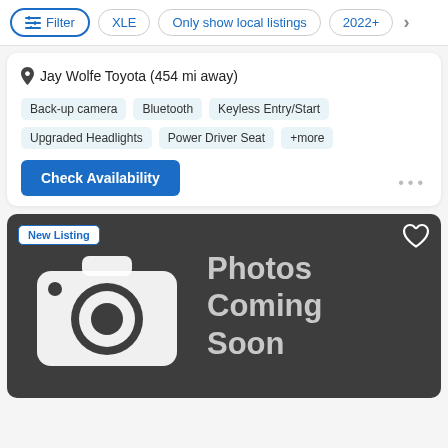Filter | XLE | Only show local listings | 2022+
Jay Wolfe Toyota (454 mi away)
Back-up camera
Bluetooth
Keyless Entry/Start
Upgraded Headlights
Power Driver Seat
+more
Check Availability
[Figure (illustration): Dark grey placeholder card with a white camera icon on the left and 'Photos Coming Soon' text on the right. A 'New Listing' badge in the top left corner and a heart icon in the top right corner.]